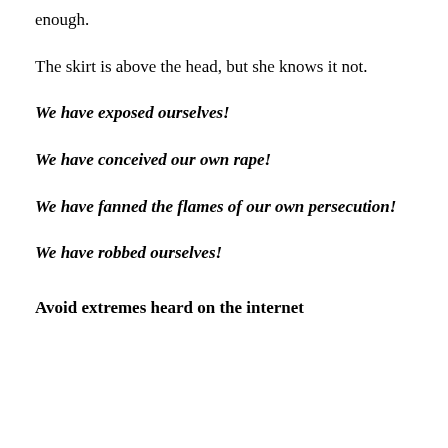enough.
The skirt is above the head, but she knows it not.
We have exposed ourselves!
We have conceived our own rape!
We have fanned the flames of our own persecution!
We have robbed ourselves!
Avoid extremes heard on the internet